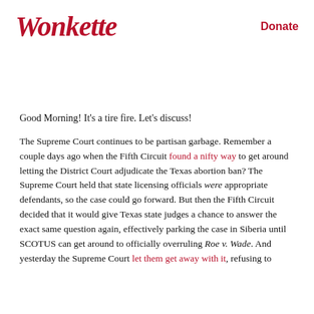Wonkette
Donate
Good Morning! It's a tire fire. Let's discuss!
The Supreme Court continues to be partisan garbage. Remember a couple days ago when the Fifth Circuit found a nifty way to get around letting the District Court adjudicate the Texas abortion ban? The Supreme Court held that state licensing officials were appropriate defendants, so the case could go forward. But then the Fifth Circuit decided that it would give Texas state judges a chance to answer the exact same question again, effectively parking the case in Siberia until SCOTUS can get around to officially overruling Roe v. Wade. And yesterday the Supreme Court let them get away with it, refusing to